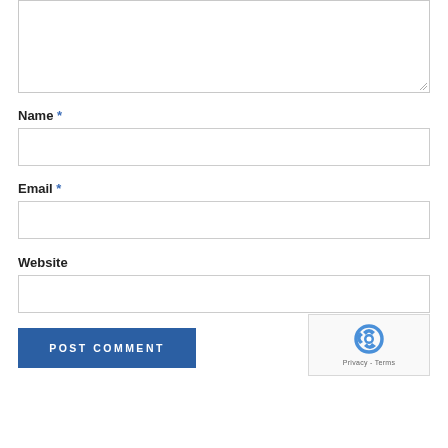[Figure (screenshot): Comment form textarea (top portion, partially visible)]
Name *
[Figure (screenshot): Name input field (empty text box)]
Email *
[Figure (screenshot): Email input field (empty text box)]
Website
[Figure (screenshot): Website input field (empty text box)]
[Figure (screenshot): POST COMMENT button (blue)]
[Figure (screenshot): reCAPTCHA widget with Privacy - Terms text]